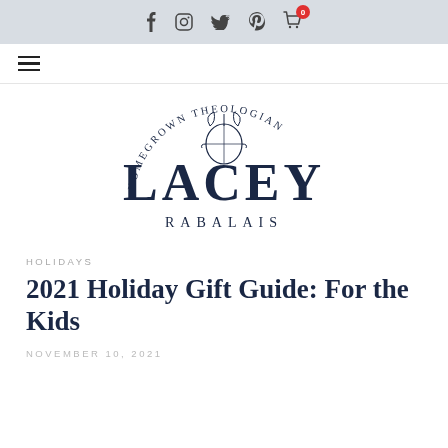Social icons: Facebook, Instagram, Twitter, Pinterest, Cart (0)
[Figure (logo): Homegrown Theologian Lacey Rabalais logo — circular text 'HOMEGROWN THEOLOGIAN' arched over a lemon illustration, with 'LACEY' in large serif caps and 'RABALAIS' in spaced small caps below]
HOLIDAYS
2021 Holiday Gift Guide: For the Kids
NOVEMBER 10, 2021